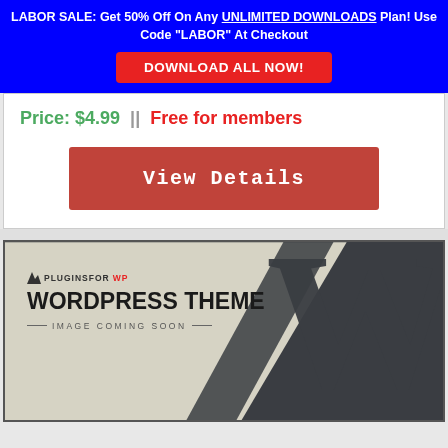LABOR SALE: Get 50% Off On Any UNLIMITED DOWNLOADS Plan! Use Code "LABOR" At Checkout
DOWNLOAD ALL NOW!
Price: $4.99 || Free for members
View Details
[Figure (illustration): WordPress theme placeholder image with PluginsForWP logo, 'WORDPRESS THEME' title, 'IMAGE COMING SOON' subtitle, and large WordPress W logo on dark background]